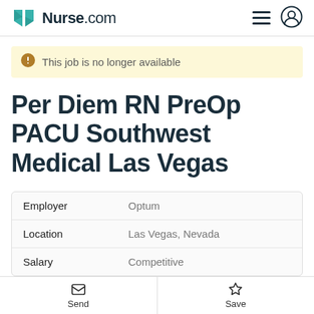Nurse.com
This job is no longer available
Per Diem RN PreOp PACU Southwest Medical Las Vegas
|  |  |
| --- | --- |
| Employer | Optum |
| Location | Las Vegas, Nevada |
| Salary | Competitive |
Send  Save